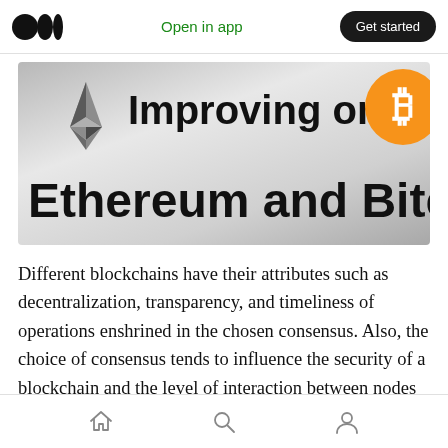Open in app | Get started
[Figure (illustration): Hero banner showing Ethereum diamond logo and Bitcoin orange coin logo with text 'Improving on Ethereum and Bitcoin']
Different blockchains have their attributes such as decentralization, transparency, and timeliness of operations enshrined in the chosen consensus. Also, the choice of consensus tends to influence the security of a blockchain and the level of interaction between nodes in the network.
Home | Search | Profile